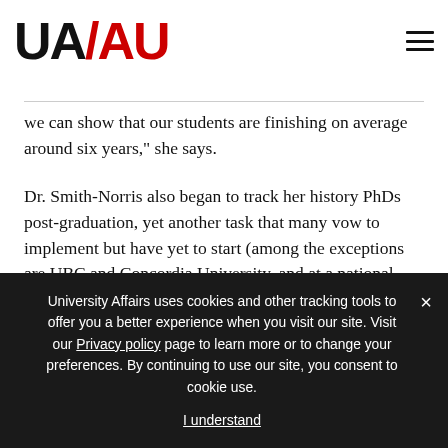UA/AU
we can show that our students are finishing on average around six years,” she says.
Dr. Smith-Norris also began to track her history PhDs post-graduation, yet another task that many vow to implement but have yet to start (among the exceptions are UBC and Concordia University, and at a national level there is a new project that emerged from the McGill conference called TRaCE, which will track PhDs outside academia and
University Affairs uses cookies and other tracking tools to offer you a better experience when you visit our site. Visit our Privacy policy page to learn more or to change your preferences. By continuing to use our site, you consent to cookie use.
I understand